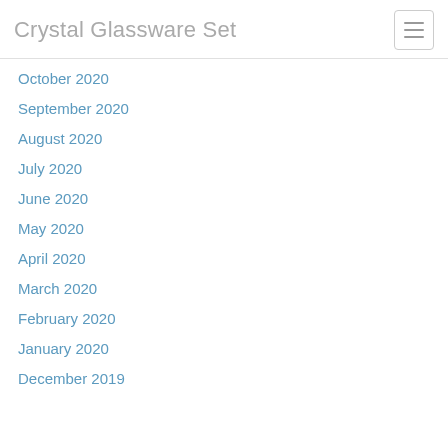Crystal Glassware Set
October 2020
September 2020
August 2020
July 2020
June 2020
May 2020
April 2020
March 2020
February 2020
January 2020
December 2019